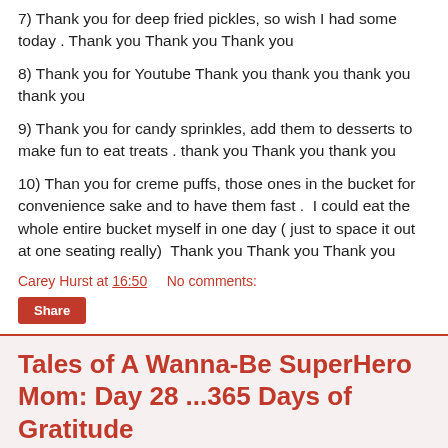7) Thank you for deep fried pickles, so wish I had some today . Thank you Thank you Thank you
8) Thank you for Youtube Thank you thank you thank you thank you
9) Thank you for candy sprinkles, add them to desserts to make fun to eat treats . thank you Thank you thank you
10) Than you for creme puffs, those ones in the bucket for convenience sake and to have them fast .  I could eat the whole entire bucket myself in one day ( just to space it out at one seating really)  Thank you Thank you Thank you
Carey Hurst at 16:50    No comments:
Share
Tales of A Wanna-Be SuperHero Mom: Day 28 ...365 Days of Gratitude